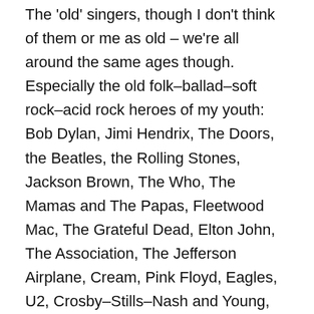The 'old' singers, though I don't think of them or me as old – we're all around the same ages though. Especially the old folk–ballad–soft rock–acid rock heroes of my youth: Bob Dylan, Jimi Hendrix, The Doors, the Beatles, the Rolling Stones, Jackson Brown, The Who, The Mamas and The Papas, Fleetwood Mac, The Grateful Dead, Elton John, The Association, The Jefferson Airplane, Cream, Pink Floyd, Eagles, U2, Crosby–Stills–Nash and Young, Chris Isaak – I am truly a child of the 60s and 70s.
And the wonderful women of music: Joan